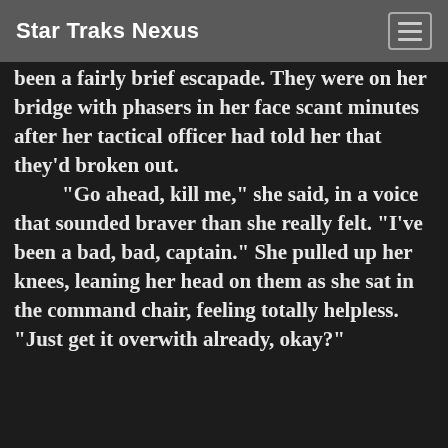Star Traks Nexus
been a fairly brief escapade. They were on her bridge with phasers in her face scant minutes after her tactical officer had told her that they'd broken out.
	"Go ahead, kill me," she said, in a voice that sounded braver than she really felt. "I've been a bad, bad, captain." She pulled up her knees, leaning her head on them as she sat in the command chair, feeling totally helpless. "Just get it overwith already, okay?"